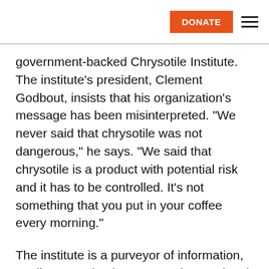DONATE
government-backed Chrysotile Institute. The institute’s president, Clement Godbout, insists that his organization’s message has been misinterpreted. “We never said that chrysotile was not dangerous,” he says. “We said that chrysotile is a product with potential risk and it has to be controlled. It’s not something that you put in your coffee every morning.”
The institute is a purveyor of information, Godbout emphasizes, not an international police agency. “We don’t have the power to interfere in any countries that have their own powers, their